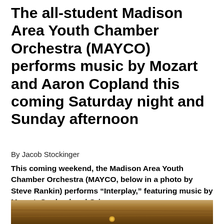The all-student Madison Area Youth Chamber Orchestra (MAYCO) performs music by Mozart and Aaron Copland this coming Saturday night and Sunday afternoon
By Jacob Stockinger
This coming weekend, the Madison Area Youth Chamber Orchestra (MAYCO, below in a photo by Steve Rankin) performs “Interplay,” featuring music by Mozart, Copland and Grieg.
[Figure (photo): Partial photo of orchestra or wooden stage surface, cut off at bottom of page]